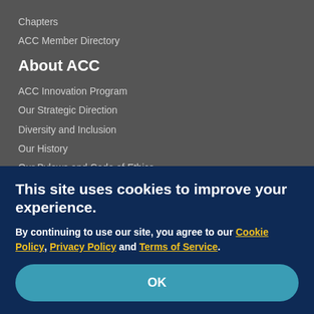Chapters
ACC Member Directory
About ACC
ACC Innovation Program
Our Strategic Direction
Diversity and Inclusion
Our History
Our Bylaws and Code of Ethics
Leadership and Governance
Industry Relations
Support the ACC
Jobs at the ACC
Press Releases
Social Media
This site uses cookies to improve your experience.
By continuing to use our site, you agree to our Cookie Policy, Privacy Policy and Terms of Service.
OK